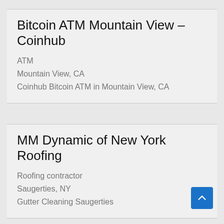Bitcoin ATM Mountain View – Coinhub
ATM
Mountain View, CA
Coinhub Bitcoin ATM in Mountain View, CA
MM Dynamic of New York Roofing
Roofing contractor
Saugerties, NY
Gutter Cleaning Saugerties